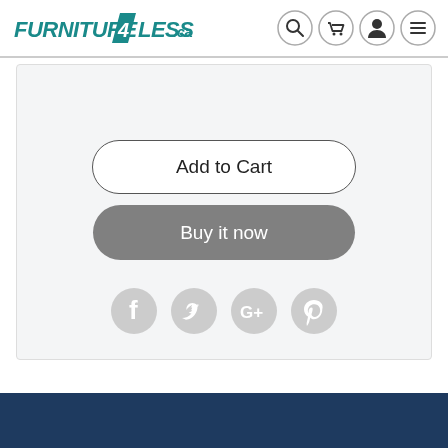[Figure (logo): Furniture 4 Less .ca logo in teal/dark cyan color with italic bold text]
[Figure (infographic): Navigation icons: search (magnifier), cart, user profile, hamburger menu — each in a circle outline]
[Figure (screenshot): Add to Cart button — white rounded rectangle with dark border and dark text]
[Figure (screenshot): Buy it now button — gray rounded rectangle with white text]
[Figure (infographic): Social media share icons: Facebook, Twitter, Google+, Pinterest — light gray circular icons]
[Figure (other): Dark navy blue footer bar at the bottom of the page]